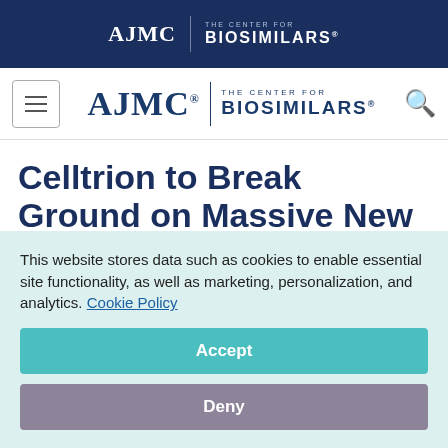AJMC | THE CENTER FOR BIOSIMILARS
[Figure (logo): AJMC The Center for Biosimilars navigation logo with hamburger menu and search icon]
Celltrion to Break Ground on Massive New Biopharmaceutical Plant
November 10, 2020
This website stores data such as cookies to enable essential site functionality, as well as marketing, personalization, and analytics. Cookie Policy
Accept
Deny